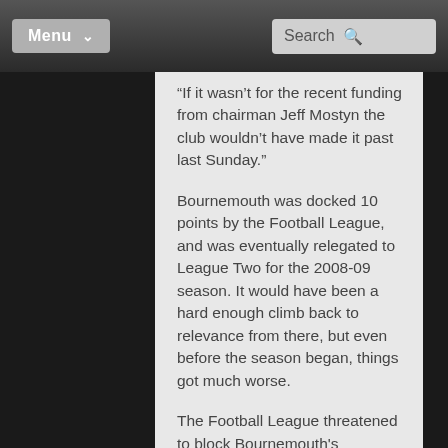Menu  Search
“If it wasn’t for the recent funding from chairman Jeff Mostyn the club wouldn’t have made it past last Sunday.”
Bournemouth was docked 10 points by the Football League, and was eventually relegated to League Two for the 2008-09 season. It would have been a hard enough climb back to relevance from there, but even before the season began, things got much worse.
The Football League threatened to block Bournemouth's participation in League Two that season due to its ongoing insolvency, and eventually docked them 17 points, which put their future in major jeopardy. Relegation would have meant falling to non-league status and abject obscurity.